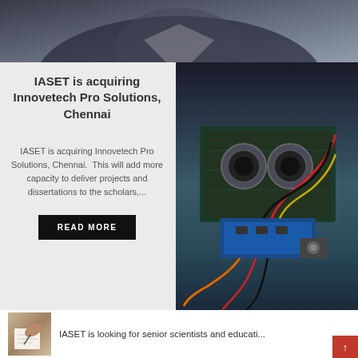[Figure (photo): Cropped photo of a person in a suit, possibly at a desk, partial view]
IASET is acquiring Innovetech Pro Solutions, Chennai
IASET is acquiring Innovetech Pro Solutions, Chennai. This will add more capacity to deliver projects and dissertations to the scholars,...
READ MORE
[Figure (photo): Close-up photo of electronic components: a robot or Arduino-like assembly with sensors, colored wires, circuit board]
[Figure (photo): Thumbnail photo of hands writing on paper with a pen]
IASET is looking for senior scientists and educati...
[Figure (photo): Small green thumbnail image, possibly a logo or plant]
IASET's (www.iaset.us) Marketing team had done a p...